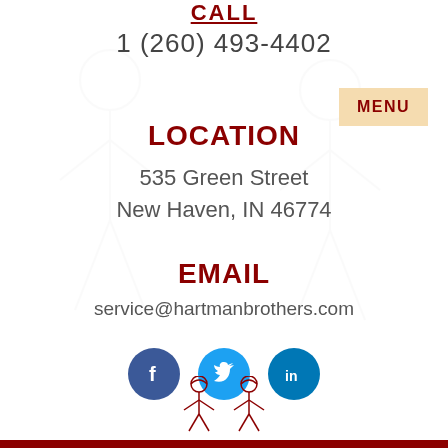CALL
1 (260) 493-4402
MENU
LOCATION
535 Green Street
New Haven, IN 46774
EMAIL
service@hartmanbrothers.com
[Figure (infographic): Three social media icons: Facebook (blue circle with f), Twitter (cyan circle with bird), LinkedIn (teal circle with in)]
[Figure (illustration): Two illustrated workers/brothers figures at bottom of page]